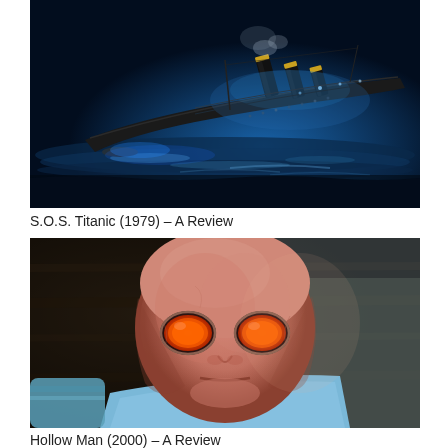[Figure (photo): A dark blue-toned photo of the Titanic ship sinking at night, with the bow submerged in choppy ocean water and steam rising from the smokestacks, illuminated by blue-tinted light.]
S.O.S. Titanic (1979) – A Review
[Figure (photo): A close-up photo of a bald figure wearing a flesh-colored latex mask with orange/red goggle-like lenses over the eye sockets, wearing a light blue shirt, in a dark background — a scene from the movie Hollow Man.]
Hollow Man (2000) – A Review